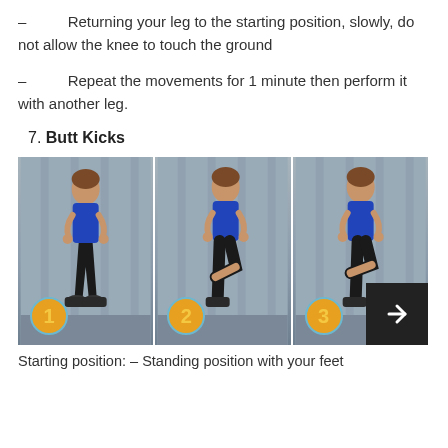– Returning your leg to the starting position, slowly, do not allow the knee to touch the ground
– Repeat the movements for 1 minute then perform it with another leg.
7. Butt Kicks
[Figure (photo): Three sequential photos of a woman in a blue tank top performing butt kicks exercise against a concrete wall background, numbered 1, 2, 3 with orange/gold badges]
Starting position: – Standing position with your feet